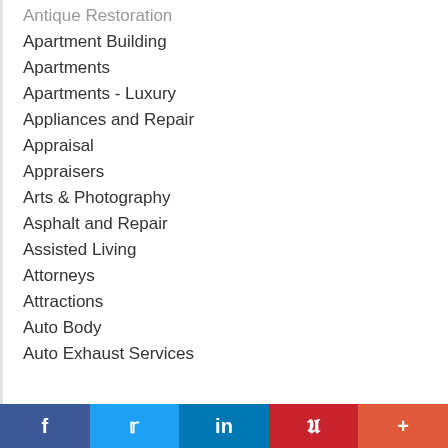Antique Restoration
Apartment Building
Apartments
Apartments - Luxury
Appliances and Repair
Appraisal
Appraisers
Arts & Photography
Asphalt and Repair
Assisted Living
Attorneys
Attractions
Auto Body
Auto Exhaust Services